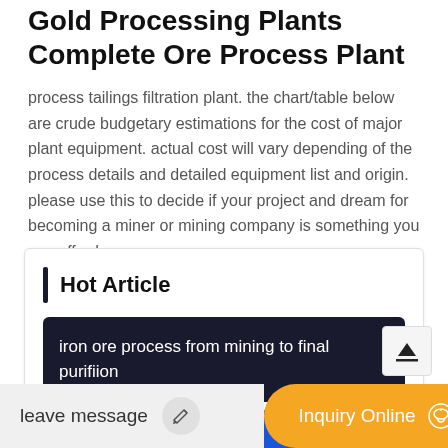Gold Processing Plants Complete Ore Process Plant
process tailings filtration plant. the chart/table below are crude budgetary estimations for the cost of major plant equipment. actual cost will vary depending of the process details and detailed equipment list and origin. please use this to decide if your project and dream for becoming a miner or mining company is something you can afford.
Hot Article
iron ore process from mining to final purifiion
copper ore floatation
leave message
Inquiry Online